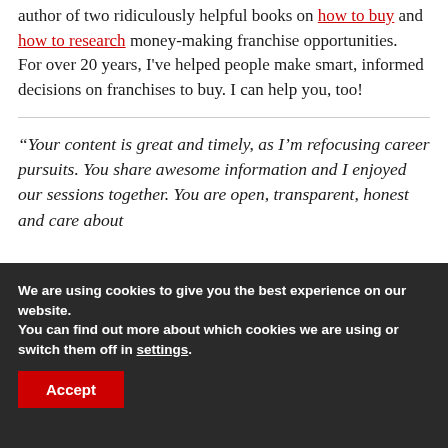author of two ridiculously helpful books on how to buy and how to research money-making franchise opportunities.
For over 20 years, I've helped people make smart, informed decisions on franchises to buy. I can help you, too!
“Your content is great and timely, as I’m refocusing career pursuits. You share awesome information and I enjoyed our sessions together. You are open, transparent, honest and care about
We are using cookies to give you the best experience on our website.
You can find out more about which cookies we are using or switch them off in settings.
Accept